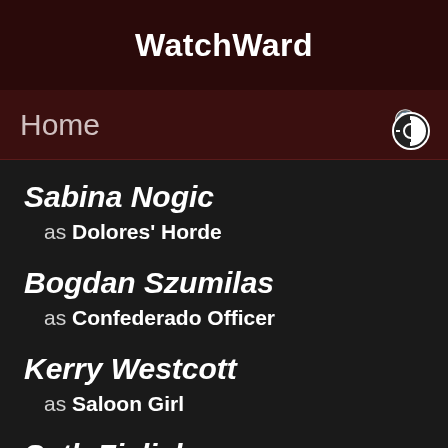WatchWard
Home
Sabina Nogic as Dolores' Horde
Bogdan Szumilas as Confederado Officer
Kerry Westcott as Saloon Girl
Seth Zielicke as Board Member
Courtney Barriger